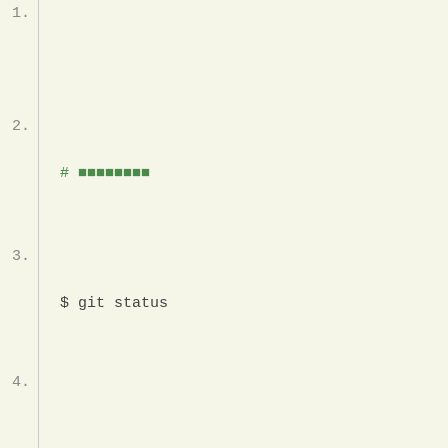1.
2.
#
3.
$ git status
4.
5.
#
6.
$ git log
7.
8.
#   commit       commit
9.